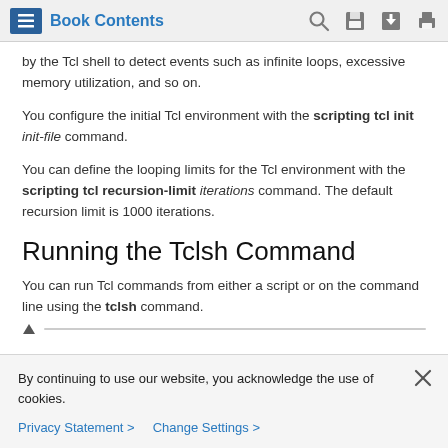Book Contents
by the Tcl shell to detect events such as infinite loops, excessive memory utilization, and so on.
You configure the initial Tcl environment with the scripting tcl init init-file command.
You can define the looping limits for the Tcl environment with the scripting tcl recursion-limit iterations command. The default recursion limit is 1000 iterations.
Running the Tclsh Command
You can run Tcl commands from either a script or on the command line using the tclsh command.
By continuing to use our website, you acknowledge the use of cookies.
Privacy Statement > Change Settings >